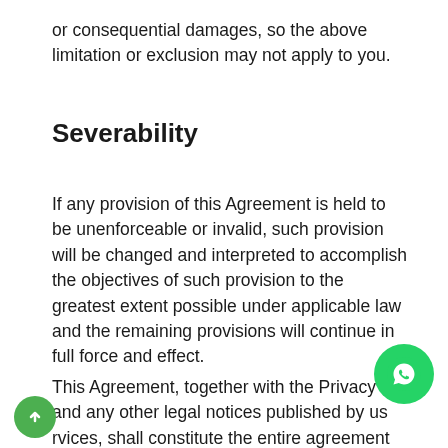or consequential damages, so the above limitation or exclusion may not apply to you.
Severability
If any provision of this Agreement is held to be unenforceable or invalid, such provision will be changed and interpreted to accomplish the objectives of such provision to the greatest extent possible under applicable law and the remaining provisions will continue in full force and effect.
This Agreement, together with the Privacy P and any other legal notices published by us vices, shall constitute the entire agreement